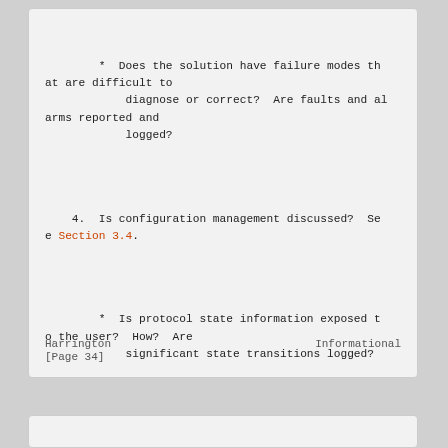*  Does the solution have failure modes that are difficult to
            diagnose or correct?  Are faults and alarms reported and
            logged?
4.  Is configuration management discussed?  See Section 3.4.
*  Is protocol state information exposed to the user?  How?  Are
            significant state transitions logged?
Harrington                                       Informational
[Page 34]